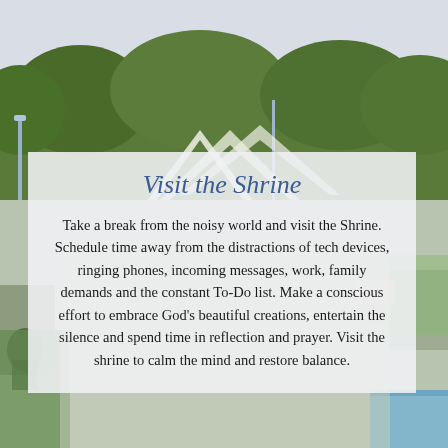[Figure (photo): Outdoor shrine grounds with trees, a white geometric structure, people seated in the background, and a pool or water feature at the bottom right.]
Visit the Shrine
Take a break from the noisy world and visit the Shrine. Schedule time away from the distractions of tech devices, ringing phones, incoming messages, work, family demands and the constant To-Do list. Make a conscious effort to embrace God's beautiful creations, entertain the silence and spend time in reflection and prayer. Visit the shrine to calm the mind and restore balance.